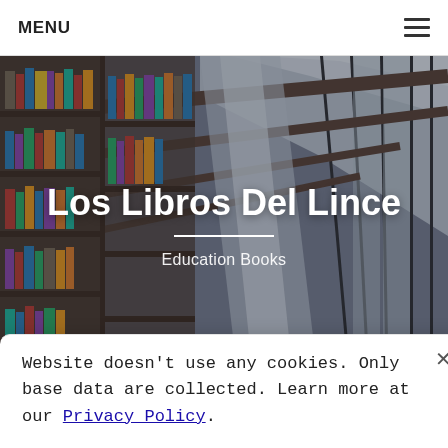MENU
[Figure (photo): Library bookshelf interior viewed from below at an angle, showing rows of books on shelves with a skylight ceiling]
Los Libros Del Lince
Education Books
Website doesn't use any cookies. Only base data are collected. Learn more at our Privacy Policy.